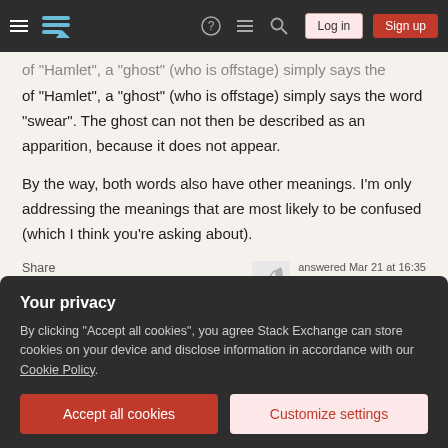Stack Exchange navigation bar with logo, Log in, Sign up buttons
of "Hamlet", a "ghost" (who is offstage) simply says the word "swear". The ghost can not then be described as an apparition, because it does not appear.
By the way, both words also have other meanings. I'm only addressing the meanings that are most likely to be confused (which I think you're asking about).
Share
Improve this answer
Follow
answered Mar 21 at 16:35
MarcInManhattan
3,400 ●4 ●28
Your privacy
By clicking "Accept all cookies", you agree Stack Exchange can store cookies on your device and disclose information in accordance with our Cookie Policy.
Accept all cookies
Customize settings